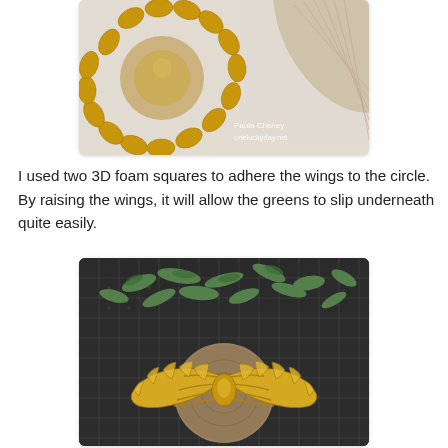[Figure (photo): Close-up photo of a gold decorative sunflower/petal wreath circle on a white marble surface, partially visible with a wood-grain fan in the background. Watermark reads 'Paula Cheney oneluckyday.net'.]
I used two 3D foam squares to adhere the wings to the circle.  By raising the wings, it will allow the greens to slip underneath quite easily.
[Figure (photo): Photo of gold angel wings decoration placed on a round wooden disc, sitting on a black gridded cutting mat. Green botanical leaves/succulents are scattered in the background on the mat.]